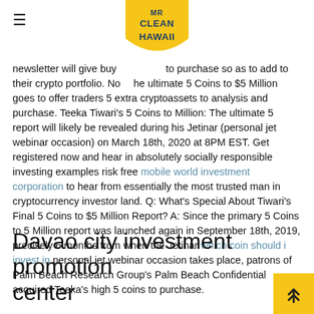MR CLEAN HAWAII
newsletter will give buyers assets to purchase so as to add to their crypto portfolio. Now the ultimate 5 Coins to $5 Million goes to offer traders 5 extra cryptoassets to analysis and purchase. Teeka Tiwari's 5 Coins to Million: The ultimate 5 report will likely be revealed during his Jetinar (personal jet webinar occasion) on March 18th, 2020 at 8PM EST. Get registered now and hear in absolutely socially responsible investing examples risk free mobile world investment corporation to hear from essentially the most trusted man in cryptocurrency investor land. Q: What's Special About Tiwari's Final 5 Coins to $5 Million Report? A: Since the primary 5 Coins to 5 Million report was launched again in September 18th, 2019, precisely 6 months from when the Jetinar which coin should i invest in personal jet webinar occasion takes place, patrons of Palm Beach Research Group's Palm Beach Confidential acquired Teeka's high 5 coins to purchase.
Davao city investment promotion center